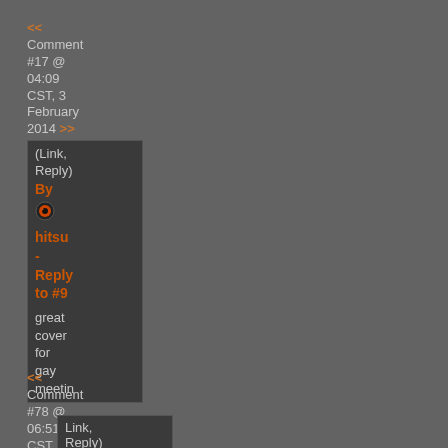<< Comment #17 @ 04:09 CST, 3 February 2014 >>
(Link, Reply) By hitsu - Reply to #9
great cover for gay meetin
<< Comment #78 @ 06:51 CST, 10 February 2014 >>
Link, Reply